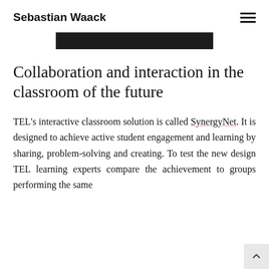Sebastian Waack
[Figure (photo): Partial top of an image visible at the top of the page, dark/black tones, cropped.]
Collaboration and interaction in the classroom of the future
TEL's interactive classroom solution is called SynergyNet. It is designed to achieve active student engagement and learning by sharing, problem-solving and creating. To test the new design TEL learning experts compare the achievement to groups performing the same